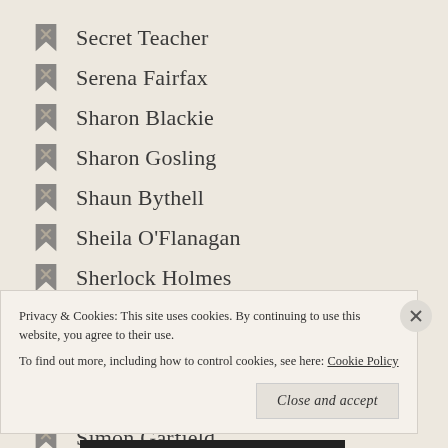Secret Teacher
Serena Fairfax
Sharon Blackie
Sharon Gosling
Shaun Bythell
Sheila O'Flanagan
Sherlock Holmes
Shirley Williams
Simon Brew
Simon Edge
Simon Garfield
Simon Kettlewell
Simon Richmond (partial)
Privacy & Cookies: This site uses cookies. By continuing to use this website, you agree to their use. To find out more, including how to control cookies, see here: Cookie Policy
Close and accept